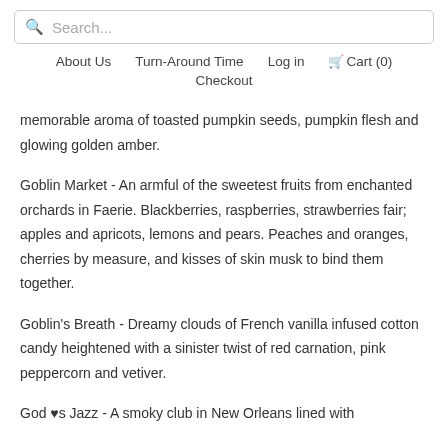Search... | About Us  Turn-Around Time  Log in  Cart (0)  Checkout
memorable aroma of toasted pumpkin seeds, pumpkin flesh and glowing golden amber.
Goblin Market - An armful of the sweetest fruits from enchanted orchards in Faerie. Blackberries, raspberries, strawberries fair; apples and apricots, lemons and pears. Peaches and oranges, cherries by measure, and kisses of skin musk to bind them together.
Goblin's Breath - Dreamy clouds of French vanilla infused cotton candy heightened with a sinister twist of red carnation, pink peppercorn and vetiver.
God ♥s Jazz - A smoky club in New Orleans lined with